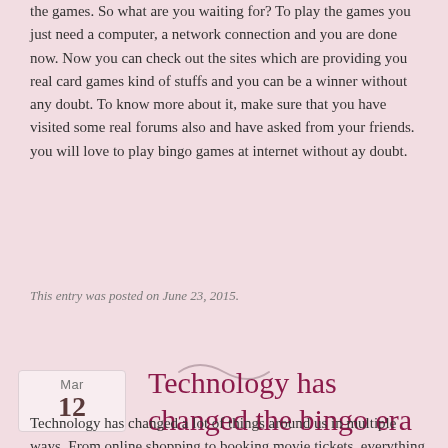the games. So what are you waiting for? To play the games you just need a computer, a network connection and you are done now. Now you can check out the sites which are providing you real card games kind of stuffs and you can be a winner without any doubt. To know more about it, make sure that you have visited some real forums also and have asked from your friends. you will love to play bingo games at internet without ay doubt.
This entry was posted on June 23, 2015.
[Figure (illustration): Decorative tilde/squiggle divider]
Technology has changed the bingo era
Technology has changed a lot of things around us in multiple ways. From online shopping to booking movie tickets, everything is available